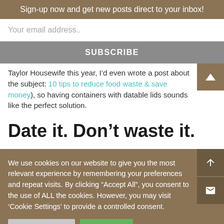Sign-up now and get new posts direct to your inbox!
Your email address..
SUBSCRIBE
Taylor Housewife this year, I’d even wrote a post about the subject: 10 tips to reduce food waste & save money), so having containers with datable lids sounds like the perfect solution.
Date it. Don't waste it.
We use cookies on our website to give you the most relevant experience by remembering your preferences and repeat visits. By clicking “Accept All”, you consent to the use of ALL the cookies. However, you may visit ‘Cookie Settings’ to provide a controlled consent.
Cookie Settings
Accept All